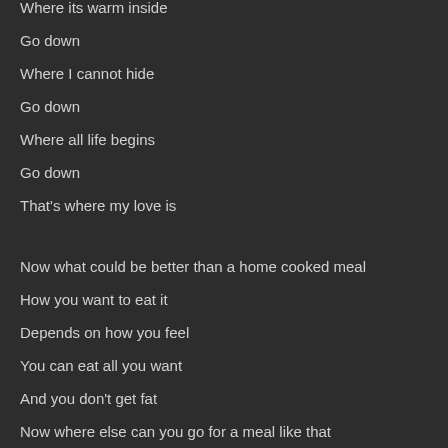Where its warm inside
Go down
Where I cannot hide
Go down
Where all life begins
Go down
That's where my love is
Now what could be better than a home cooked meal
How you want to eat it
Depends on how you feel
You can eat all you want
And you don't get fat
Now where else can you go for a meal like that